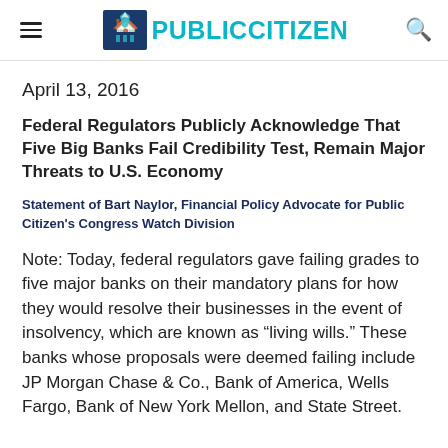PUBLIC CITIZEN
April 13, 2016
Federal Regulators Publicly Acknowledge That Five Big Banks Fail Credibility Test, Remain Major Threats to U.S. Economy
Statement of Bart Naylor, Financial Policy Advocate for Public Citizen's Congress Watch Division
Note: Today, federal regulators gave failing grades to five major banks on their mandatory plans for how they would resolve their businesses in the event of insolvency, which are known as “living wills.” These banks whose proposals were deemed failing include JP Morgan Chase & Co., Bank of America, Wells Fargo, Bank of New York Mellon, and State Street.